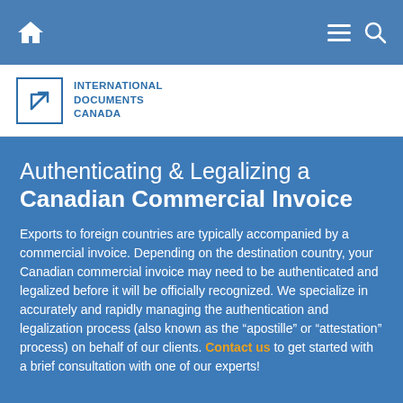Navigation bar with home icon, hamburger menu, and search icon
[Figure (logo): International Documents Canada logo: a square box with a diagonal arrow icon and the text 'INTERNATIONAL DOCUMENTS CANADA' in blue]
Authenticating & Legalizing a Canadian Commercial Invoice
Exports to foreign countries are typically accompanied by a commercial invoice. Depending on the destination country, your Canadian commercial invoice may need to be authenticated and legalized before it will be officially recognized. We specialize in accurately and rapidly managing the authentication and legalization process (also known as the “apostille” or “attestation” process) on behalf of our clients. Contact us to get started with a brief consultation with one of our experts!